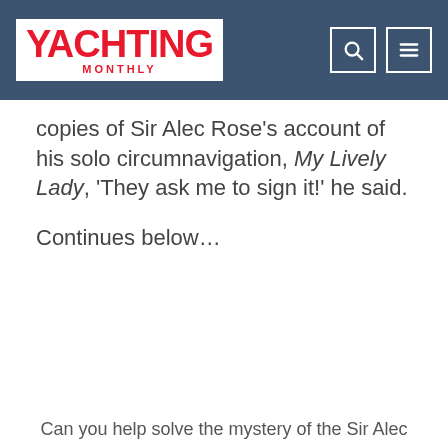YACHTING MONTHLY
copies of Sir Alec Rose's account of his solo circumnavigation, My Lively Lady, 'They ask me to sign it!' he said.
Continues below…
Can you help solve the mystery of the Sir Alec